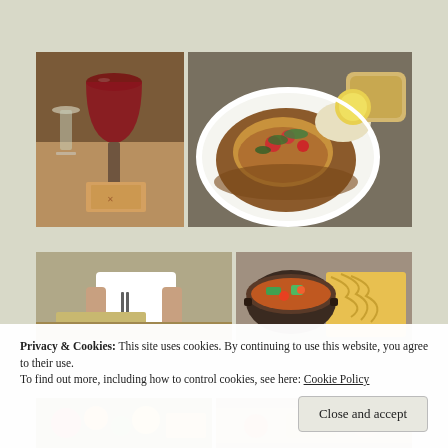[Figure (photo): Photo of red wine sangria glass with white wine glass in background on a table, with folded napkins visible]
[Figure (photo): Photo of a food dish on a white plate with brown gravy, tomatoes, herbs, and bread roll]
[Figure (photo): Photo of a person in white uniform handling food with tongs at a table]
[Figure (photo): Photo of a curry dish in a pot with noodles/sides]
[Figure (photo): Partially visible photo of colorful food]
[Figure (photo): Partially visible photo of food]
Privacy & Cookies: This site uses cookies. By continuing to use this website, you agree to their use.
To find out more, including how to control cookies, see here: Cookie Policy
Close and accept